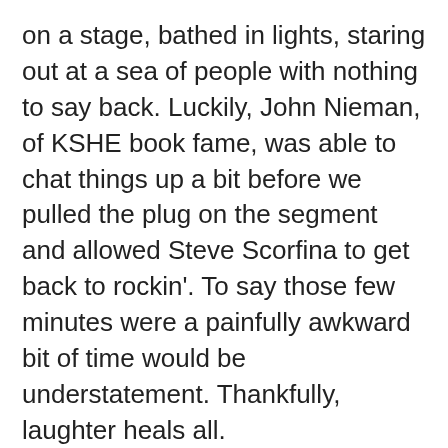on a stage, bathed in lights, staring out at a sea of people with nothing to say back. Luckily, John Nieman, of KSHE book fame, was able to chat things up a bit before we pulled the plug on the segment and allowed Steve Scorfina to get back to rockin'. To say those few minutes were a painfully awkward bit of time would be understatement. Thankfully, laughter heals all.
The World Cup, Der Mannschaft: It's time to get serious about World Cup preparations. Test me in a week/two on German tendencies, lineups, formations and substitution patterns. And, after this summer's event, I am officially renouncing and giving it on the game. Just to put that out